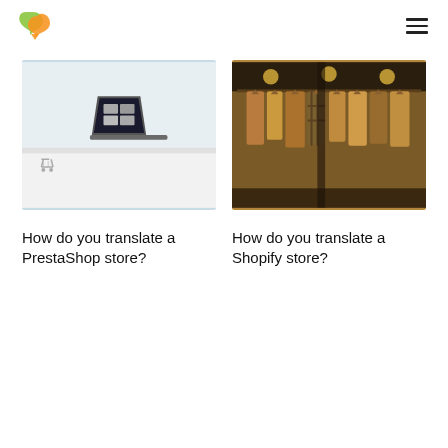[Figure (photo): Laptop showing clothing e-commerce website on a white desk with a shopping cart]
How do you translate a PrestaShop store?
[Figure (photo): Clothing rack with shirts and jackets hanging in warm amber light]
How do you translate a Shopify store?